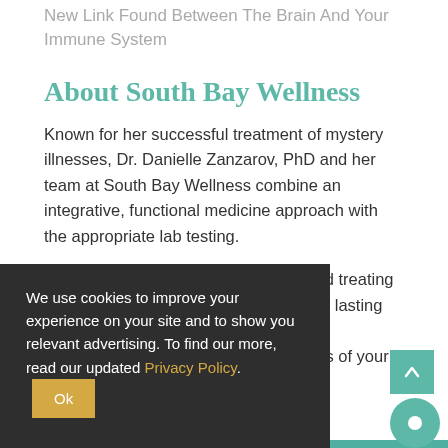New Link Found Between The Brain And Your Immune System
About South Bay Wellness
Known for her successful treatment of mystery illnesses, Dr. Danielle Zanzarov, PhD and her team at South Bay Wellness combine an integrative, functional medicine approach with the appropriate lab testing.
Our unique approach to diagnosing and treating diseases and disorders recognizes that lasting health ... ses of your
We use cookies to improve your experience on your site and to show you relevant advertising. To find our more, read our updated Privacy Policy. Ok